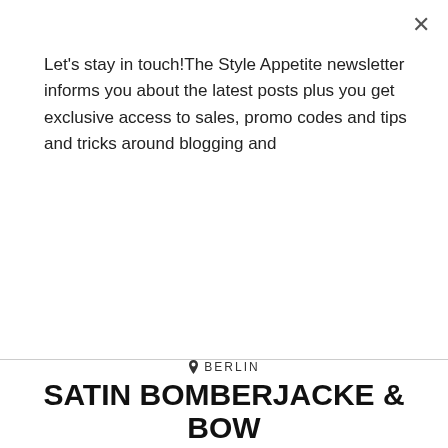Let's stay in touch!The Style Appetite newsletter informs you about the latest posts plus you get exclusive access to sales, promo codes and tips and tricks around blogging and
Subscribe
BERLIN
SATIN BOMBERJACKE & BOW